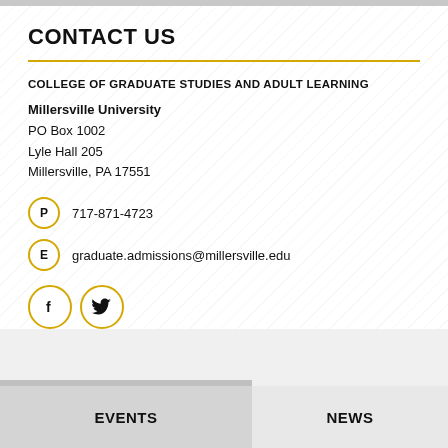CONTACT US
COLLEGE OF GRADUATE STUDIES AND ADULT LEARNING
Millersville University
PO Box 1002
Lyle Hall 205
Millersville, PA 17551
P  717-871-4723
E  graduate.admissions@millersville.edu
[Figure (other): Facebook and Twitter social media icons in gold circles]
EVENTS  NEWS